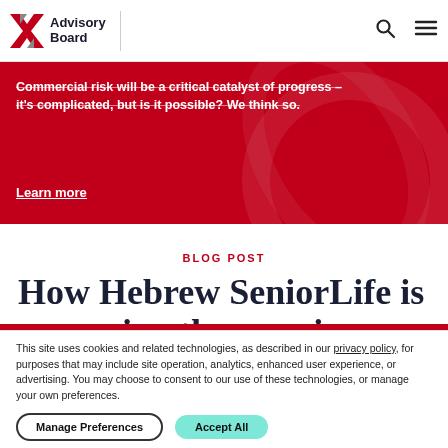Advisory Board
Commercial risk will be a critical catalyst of progress – it's complicated, but is it possible? We think so.
Learn more
BLOG POST
How Hebrew SeniorLife is managing the growing dementia population
This site uses cookies and related technologies, as described in our privacy policy, for purposes that may include site operation, analytics, enhanced user experience, or advertising. You may choose to consent to our use of these technologies, or manage your own preferences.
Manage Preferences   Accept All